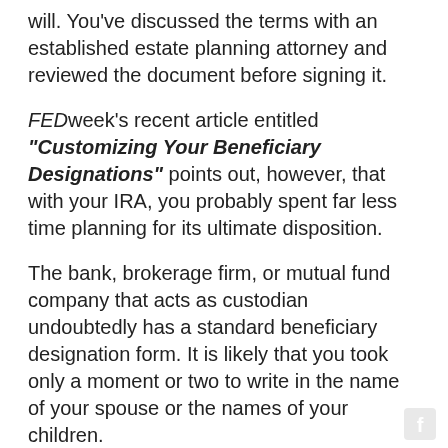will. You've discussed the terms with an established estate planning attorney and reviewed the document before signing it.
FEDweek's recent article entitled "Customizing Your Beneficiary Designations" points out, however, that with your IRA, you probably spent far less time planning for its ultimate disposition.
The bank, brokerage firm, or mutual fund company that acts as custodian undoubtedly has a standard beneficiary designation form. It is likely that you took only a moment or two to write in the name of your spouse or the names of your children.
A beneficiary designation on account, like an IRA, gives instructions on how your assets will be distributed upon your death.